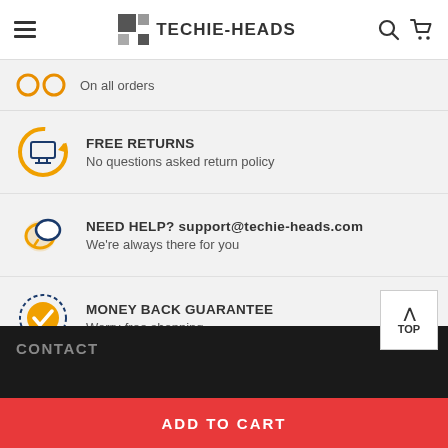TECHIE-HEADS
On all orders
FREE RETURNS — No questions asked return policy
NEED HELP? support@techie-heads.com — We're always there for you
MONEY BACK GUARANTEE — Worry-free shopping
CONTACT
ADD TO CART